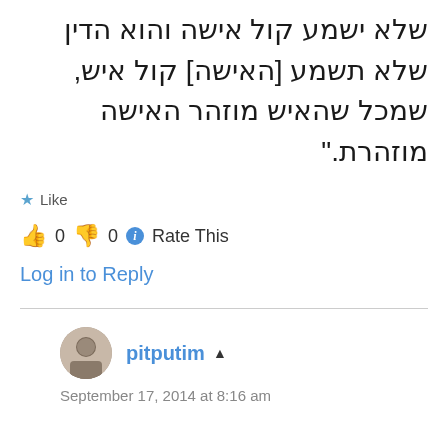שלא ישמע קול אישה והוא הדין שלא תשמע [האישה] קול איש, שמכל שהאיש מוזהר האישה מוזהרת."
★ Like
👍 0 👎 0 ℹ Rate This
Log in to Reply
pitputim
September 17, 2014 at 8:16 am